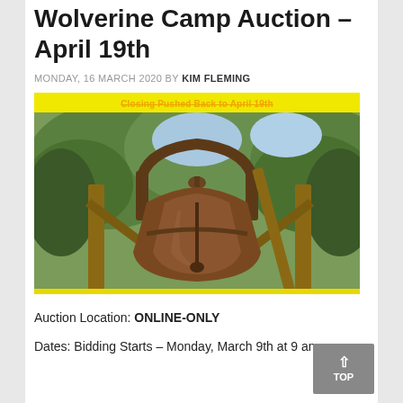Wolverine Camp Auction – April 19th
MONDAY, 16 MARCH 2020 BY KIM FLEMING
[Figure (photo): A large cast iron bell mounted on a wooden frame outdoors with trees in the background. A yellow banner at the top reads 'Closing Pushed Back to April 19th' in orange text. A yellow bar appears at the bottom of the image.]
Auction Location: ONLINE-ONLY
Dates: Bidding Starts – Monday, March 9th at 9 am